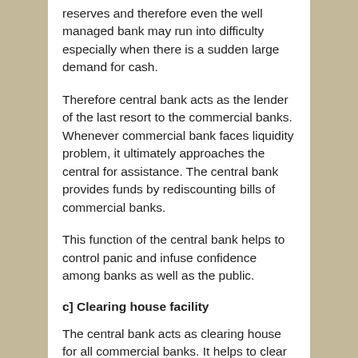reserves and therefore even the well managed bank may run into difficulty especially when there is a sudden large demand for cash.
Therefore central bank acts as the lender of the last resort to the commercial banks. Whenever commercial bank faces liquidity problem, it ultimately approaches the central for assistance. The central bank provides funds by rediscounting bills of commercial banks.
This function of the central bank helps to control panic and infuse confidence among banks as well as the public.
c] Clearing house facility
The central bank acts as clearing house for all commercial banks. It helps to clear the day to day interbank transactions. Since all commercial banks have their accounts with the central banks, the claims of banks against each other are settled by simple transfer ie by